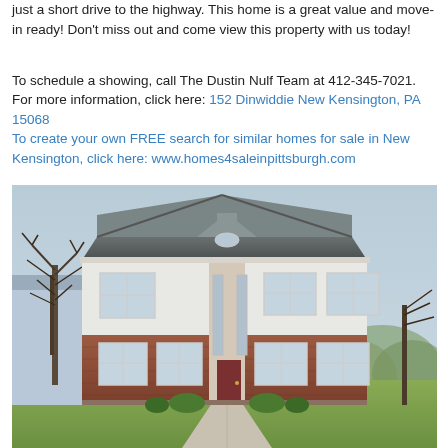just a short drive to the highway. This home is a great value and move-in ready! Don't miss out and come view this property with us today!

To schedule a showing, call The Dustin Nulf Team at 412-345-7021.
For more information, click here: 152 Dinwiddie New Kensington, PA 15068
To create your own FREE search for similar homes for sale in New Kensington, click here: www.homes4saleinpittsburgh.com
[Figure (photo): Exterior photo of a two-story colonial-style home with brick lower level and white upper level, featuring a peaked gable entry, multiple windows, a concrete walkway leading to the front door, a lawn, bare trees on the left, and wooded hills in the background.]